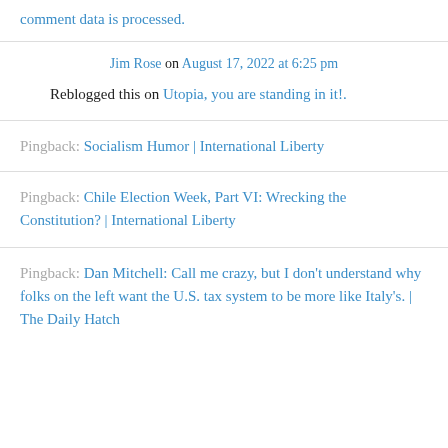comment data is processed.
Jim Rose on August 17, 2022 at 6:25 pm
Reblogged this on Utopia, you are standing in it!.
Pingback: Socialism Humor | International Liberty
Pingback: Chile Election Week, Part VI: Wrecking the Constitution? | International Liberty
Pingback: Dan Mitchell: Call me crazy, but I don't understand why folks on the left want the U.S. tax system to be more like Italy's.  | The Daily Hatch